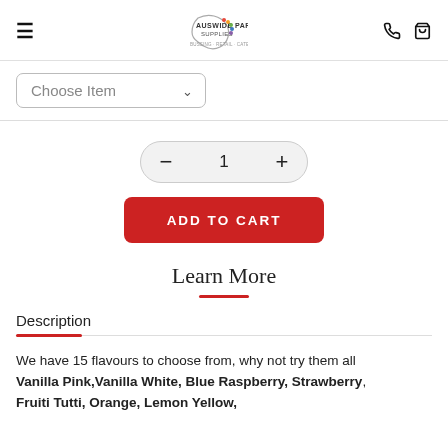Auswide Party Supplies [logo] [phone icon] [cart icon]
Choose Item [dropdown]
- 1 + [quantity control]
ADD TO CART
Learn More
Description
We have 15 flavours to choose from, why not try them all Vanilla Pink,Vanilla White, Blue Raspberry, Strawberry, Fruiti Tutti, Orange, Lemon Yellow,